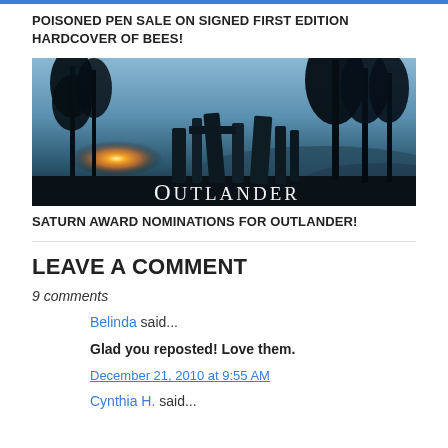POISONED PEN SALE ON SIGNED FIRST EDITION HARDCOVER OF BEES!
[Figure (photo): Dramatic sunset photo with standing stones silhouetted against a glowing sky and dark trees, with 'OUTLANDER' text at the bottom]
SATURN AWARD NOMINATIONS FOR OUTLANDER!
LEAVE A COMMENT
9 comments
Belinda said...
Glad you reposted! Love them.
December 21, 2010 at 9:55 AM
Cynthia H. said...